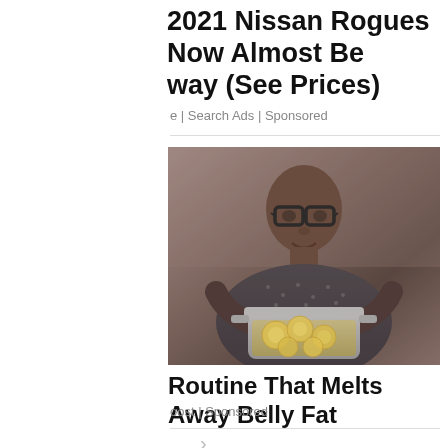2021 Nissan Rogues Now Almost Be way (See Prices)
e | Search Ads | Sponsored
[Figure (photo): A man wearing glasses and a dark patterned shirt holding a pot with lemon slices in liquid]
Routine That Melts Away Belly Fat
oost | Sponsored